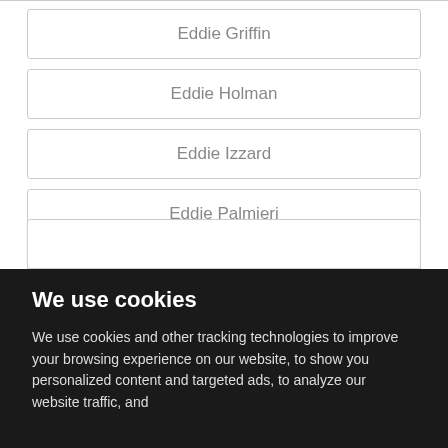Eddie Griffin
Eddie Holman
Eddie Izzard
Eddie Palmieri
Edgar Hansen
We use cookies
We use cookies and other tracking technologies to improve your browsing experience on our website, to show you personalized content and targeted ads, to analyze our website traffic, and